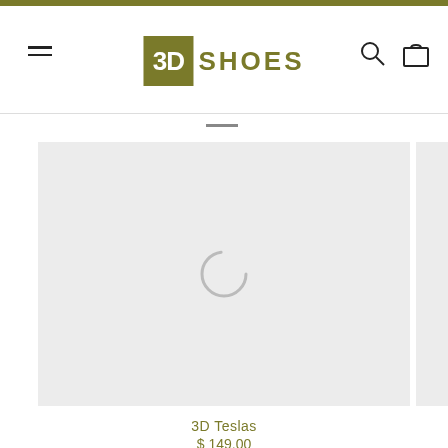3D SHOES
[Figure (screenshot): Product image placeholder with loading spinner on light grey background]
3D Teslas
$ 149.00